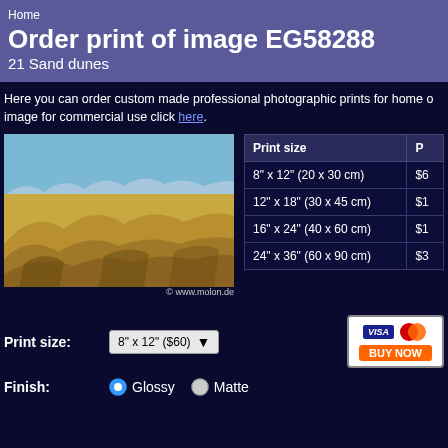Home
Order print of image EG58288
21 Sand dunes
Here you can order custom made professional photographic prints for home or office use. To license this image for commercial use click here.
[Figure (photo): Sand dunes landscape photo with blue sky, sandy dunes and mountains in background. Watermark: © www.molon.de]
| Print size | P... |
| --- | --- |
| 8" x 12" (20 x 30 cm) | $6... |
| 12" x 18" (30 x 45 cm) | $1... |
| 16" x 24" (40 x 60 cm) | $1... |
| 24" x 36" (60 x 90 cm) | $3... |
Print size: 8" x 12" ($60)
Finish: Glossy  Matte